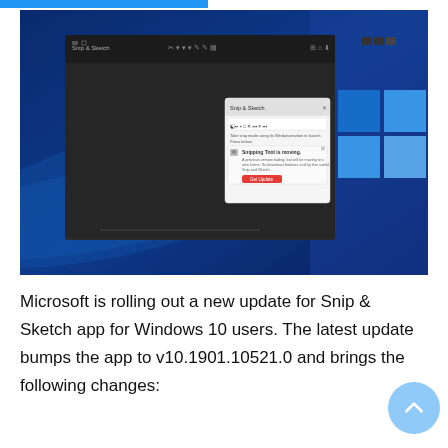[Figure (screenshot): Screenshot of Windows 10 desktop showing Snip & Sketch application open with a dialog box indicating 'Snipping Tool is moving' and a prompt to get the new Snip & Sketch update.]
Microsoft is rolling out a new update for Snip & Sketch app for Windows 10 users. The latest update bumps the app to v10.1901.10521.0 and brings the following changes: